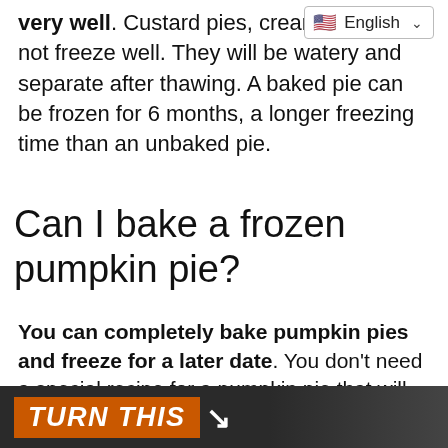very well. Custard pies, cream pies do not freeze well. They will be watery and separate after thawing. A baked pie can be frozen for 6 months, a longer freezing time than an unbaked pie.
Can I bake a frozen pumpkin pie?
You can completely bake pumpkin pies and freeze for a later date. You don't need a special recipe for a pumpkin pie that will be frozen, but you do need a special pie pan: the inexpensive and disposable pie pans available at your local grocery store.
[Figure (photo): Banner image showing 'TURN THIS' text with arrow on a dark background with food imagery]